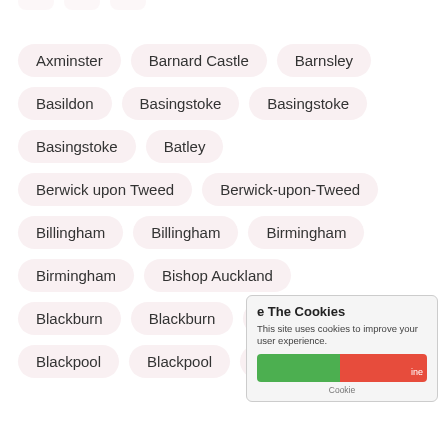Axminster
Barnard Castle
Barnsley
Basildon
Basingstoke
Basingstoke
Basingstoke
Batley
Berwick upon Tweed
Berwick-upon-Tweed
Billingham
Billingham
Birmingham
Birmingham
Bishop Auckland
Blackburn
Blackburn
Blackburn
Blackpool
Blackpool
Blackpool